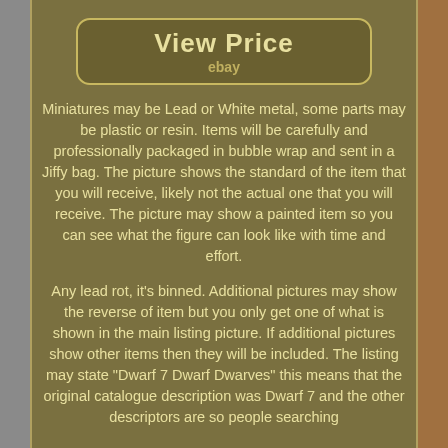[Figure (screenshot): View Price button with eBay label, rounded rectangle border on dark olive background]
Miniatures may be Lead or White metal, some parts may be plastic or resin. Items will be carefully and professionally packaged in bubble wrap and sent in a Jiffy bag. The picture shows the standard of the item that you will receive, likely not the actual one that you will receive. The picture may show a painted item so you can see what the figure can look like with time and effort.
Any lead rot, it's binned. Additional pictures may show the reverse of item but you only get one of what is shown in the main listing picture. If additional pictures show other items then they will be included. The listing may state "Dwarf 7 Dwarf Dwarves" this means that the original catalogue description was Dwarf 7 and the other descriptors are so people searching